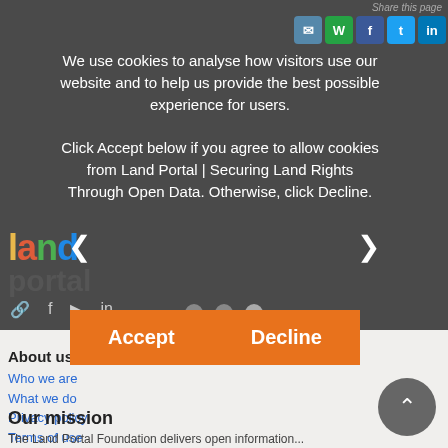Share this page
We use cookies to analyse how visitors use our website and to help us provide the best possible experience for users.

Click Accept below if you agree to allow cookies from Land Portal | Securing Land Rights Through Open Data. Otherwise, click Decline.
[Figure (screenshot): Land Portal logo with coloured letters: l(yellow), a(red), n(green), d(blue), and 'portal' below]
About us
Who we are
What we do
Privacy policy
Terms of use
Contact us
Get involved
Our mission
The Land Portal Foundation delivers open information...